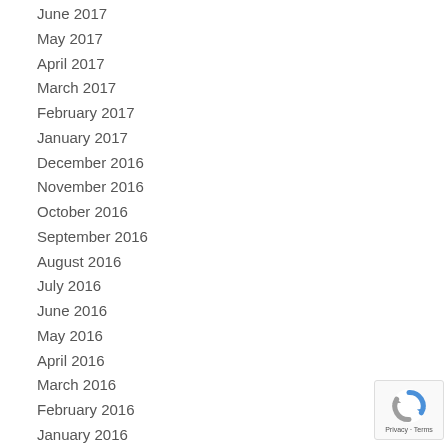June 2017
May 2017
April 2017
March 2017
February 2017
January 2017
December 2016
November 2016
October 2016
September 2016
August 2016
July 2016
June 2016
May 2016
April 2016
March 2016
February 2016
January 2016
December 2015
[Figure (logo): reCAPTCHA badge with Privacy and Terms links]